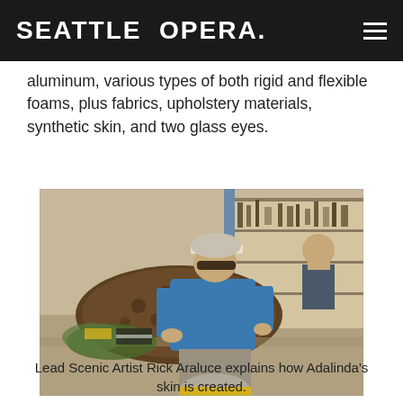SEATTLE OPERA.
aluminum, various types of both rigid and flexible foams, plus fabrics, upholstery materials, synthetic skin, and two glass eyes.
[Figure (photo): A man in a blue t-shirt and baseball cap leans over a textured prop (Adalinda's skin) on a worktable in a scenic workshop. Another person is visible in the background, and a third person with grey hair is visible in the foreground. Workshop tools and equipment are visible on shelving in the background.]
Lead Scenic Artist Rick Araluce explains how Adalinda's skin is created.